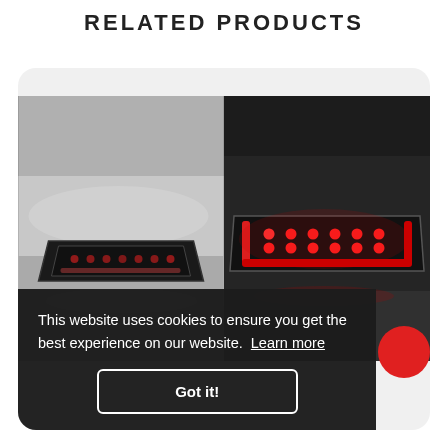RELATED PRODUCTS
[Figure (photo): Two side-by-side photos of an LED brake/tail light assembly on a vehicle. Left photo shows the light dimly lit with small red LEDs in a U-shaped housing on a silver/grey car bumper. Right photo shows the same light brightly lit with vivid red LEDs in a dark setting.]
This website uses cookies to ensure you get the best experience on our website.  Learn more
Got it!